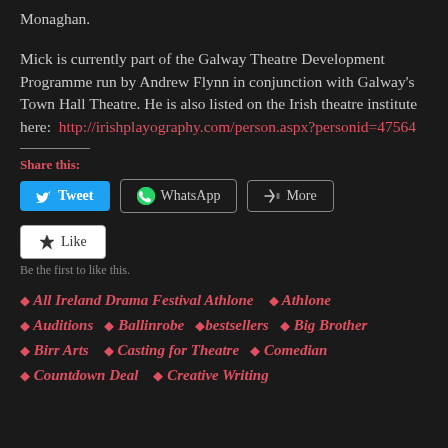Monaghan.
Mick is currently part of the Galway Theatre Development Programme run by Andrew Flynn in conjunction with Galway's Town Hall Theatre. He is also listed on the Irish theatre institute here:  http://irishplayography.com/person.aspx?personid=47564
Share this:
[Figure (screenshot): Social sharing buttons: Tweet (blue), WhatsApp (outlined), More (outlined)]
[Figure (screenshot): Like button (white background with star icon)]
Be the first to like this.
All Ireland Drama Festival Athlone
Athlone
Auditions
Ballinrobe
bestsellers
Big Brother
Birr Arts
Casting for Theatre
Comedian
Countdown Deal
Creative Writing